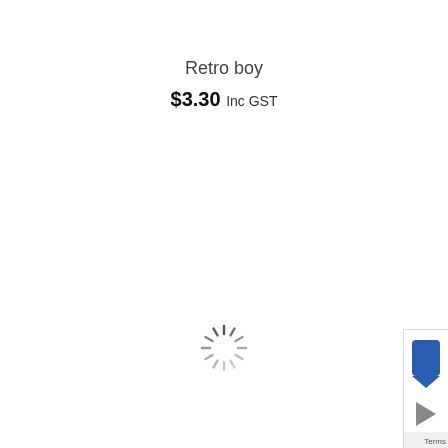Retro boy
$3.30 Inc GST
[Figure (other): Loading spinner icon (circular dashed spinner indicating content is loading)]
[Figure (other): Partial UI widget in bottom-right corner showing blue arrow/bookmark icons and 'Terms' text]